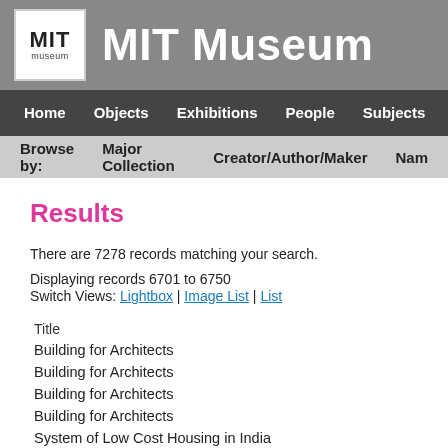[Figure (logo): MIT Museum logo with white background showing 'MIT museum' text]
MIT Museum
Home | Objects | Exhibitions | People | Subjects | Sites | W
Browse by: Major Collection | Creator/Author/Maker | Nam
Results
There are 7278 records matching your search. Displaying records 6701 to 6750
Switch Views: Lightbox | Image List | List
| Title |
| --- |
| Building for Architects |
| Building for Architects |
| Building for Architects |
| Building for Architects |
| System of Low Cost Housing in India |
| System of Low Cost Housing in India |